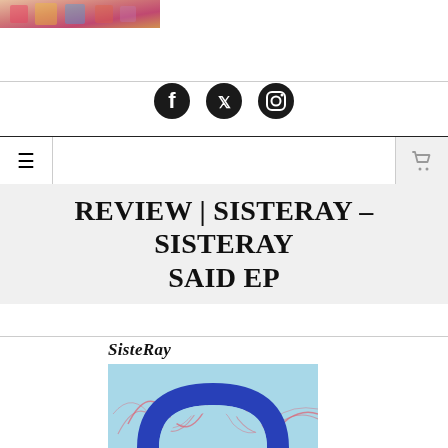[Figure (photo): Partial view of a colorful image at the top left corner of the page]
Social icons: Facebook, Twitter, Instagram
Navigation bar with hamburger menu and cart icon
REVIEW | SISTERAY – SISTERAY SAID EP
[Figure (photo): SisteRay album art - blue arch/rainbow shape on light blue background with red crayon marks, with SisteRay label text above]